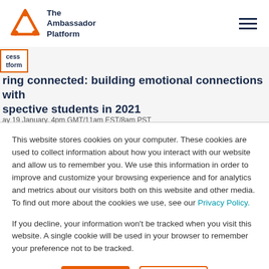[Figure (logo): The Ambassador Platform logo with orange triangular icon and dark navy text]
cess
tform
ring connected: building emotional connections with spective students in 2021
ay 19 January. 4pm GMT/11am EST/8am PST
This website stores cookies on your computer. These cookies are used to collect information about how you interact with our website and allow us to remember you. We use this information in order to improve and customize your browsing experience and for analytics and metrics about our visitors both on this website and other media. To find out more about the cookies we use, see our Privacy Policy.
If you decline, your information won't be tracked when you visit this website. A single cookie will be used in your browser to remember your preference not to be tracked.
Accept
Decline